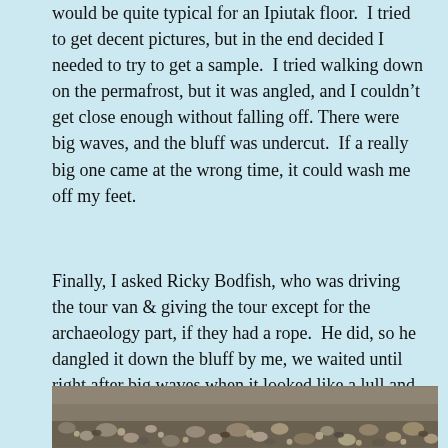would be quite typical for an Ipiutak floor.  I tried to get decent pictures, but in the end decided I needed to try to get a sample.  I tried walking down on the permafrost, but it was angled, and I couldn't get close enough without falling off. There were big waves, and the bluff was undercut.  If a really big one came at the wrong time, it could wash me off my feet.
Finally, I asked Ricky Bodfish, who was driving the tour van & giving the tour except for the archaeology part, if they had a rope.  He did, so he dangled it down the bluff by me, we waited until right after big waves when it looked like a lull and I went down to check it out and try to get close-ups and a sample.
[Figure (photo): Partial view of a rocky/pebbly beach or ground surface with small stones and pebbles visible at the bottom of the page.]